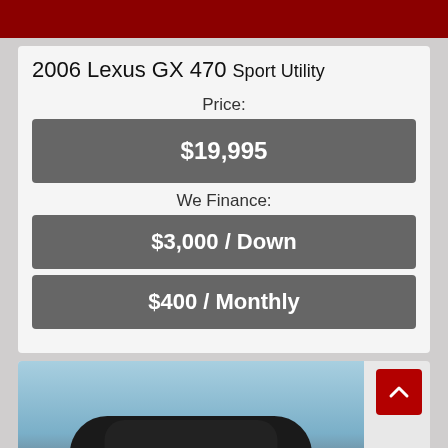2006 Lexus GX 470 Sport Utility
Price:
$19,995
We Finance:
$3,000 / Down
$400 / Monthly
[Figure (photo): Partial view of a dark-colored SUV (likely the 2006 Lexus GX 470) against a blue sky background]
Text Us